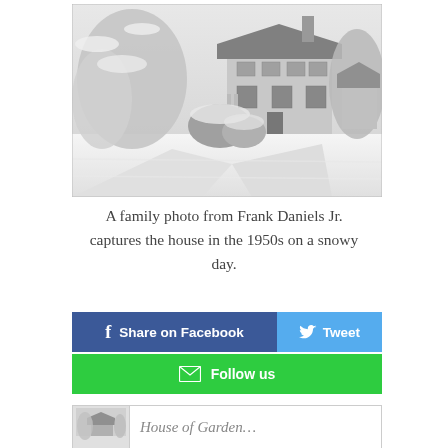[Figure (photo): Black and white photograph of a house in the 1950s on a snowy winter day. Snow-covered trees and shrubs surround a two-story house with a driveway leading up to it.]
A family photo from Frank Daniels Jr. captures the house in the 1950s on a snowy day.
Share on Facebook  |  Tweet  |  Follow us